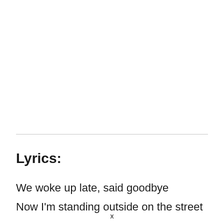Lyrics:
We woke up late, said goodbye
Now I'm standing outside on the street